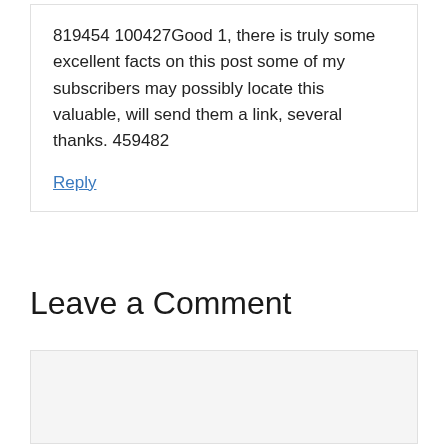819454 100427Good 1, there is truly some excellent facts on this post some of my subscribers may possibly locate this valuable, will send them a link, several thanks. 459482
Reply
Leave a Comment